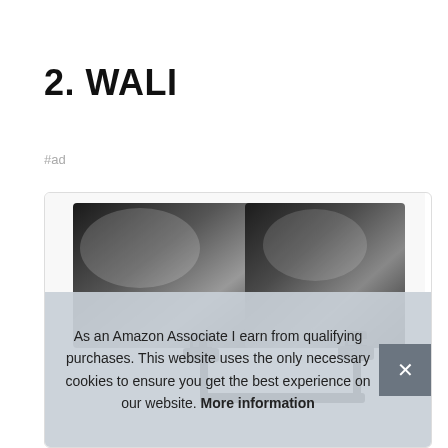2. WALI
#ad
[Figure (photo): Product photo showing two black monitor arms/stands mounted side by side, displaying dual monitors from behind, showing the arm mechanism and mounts]
As an Amazon Associate I earn from qualifying purchases. This website uses the only necessary cookies to ensure you get the best experience on our website. More information